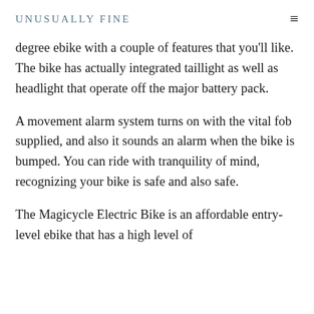UNUSUALLY FINE
degree ebike with a couple of features that you'll like. The bike has actually integrated taillight as well as headlight that operate off the major battery pack.
A movement alarm system turns on with the vital fob supplied, and also it sounds an alarm when the bike is bumped. You can ride with tranquility of mind, recognizing your bike is safe and also safe.
The Magicycle Electric Bike is an affordable entry-level ebike that has a high level of